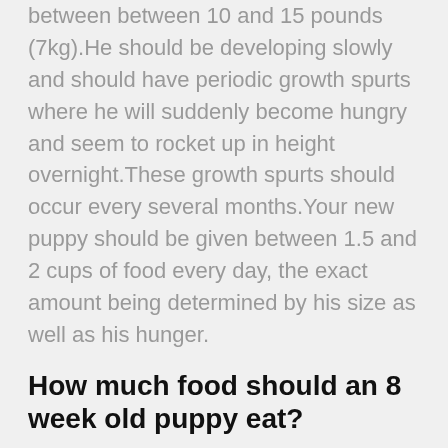between between 10 and 15 pounds (7kg).He should be developing slowly and should have periodic growth spurts where he will suddenly become hungry and seem to rocket up in height overnight.These growth spurts should occur every several months.Your new puppy should be given between 1.5 and 2 cups of food every day, the exact amount being determined by his size as well as his hunger.
How much food should an 8 week old puppy eat?
Your new puppy should be totally weaned